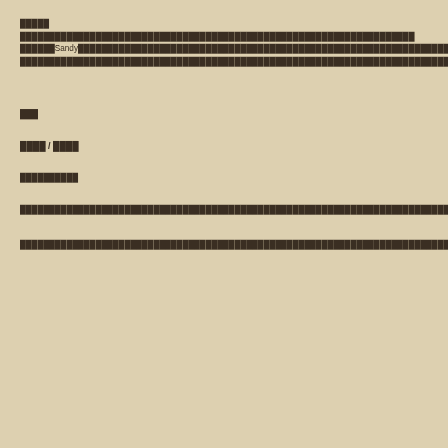█████ ████████████████████████████████████████████████████████████Sandy██████████████████████████████████████████████████████████████████████████████████████████████████████████████████████████████████████████████████Sandy████████████████████████████████████████████████████████████████████████████████████████████████████████████████████
███
████ / ████
██████████
████████████████████████████████████████████████████████████████████████████████████████████████████████████████████████████████████████████████████████████
████████████████████████████████████████████████████████████████████████████████